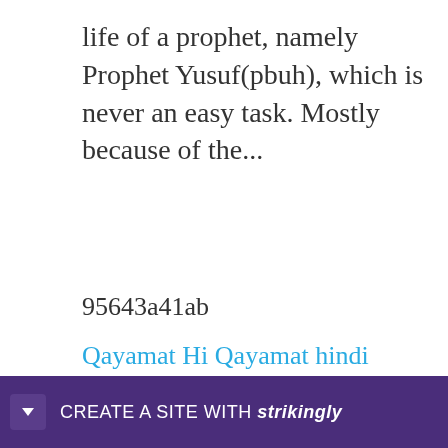life of a prophet, namely Prophet Yusuf(pbuh), which is never an easy task. Mostly because of the...
95643a41ab
Qayamat Hi Qayamat hindi movie download utorrent
2011 Ge2Gpx FULL Version 28
mount blade warband serial key manual activation code
HD Online Player (Download Movies In 720p
Yeh...
spid...y
[Figure (other): Strikingly website builder banner at the bottom: purple background with dropdown arrow and text 'CREATE A SITE WITH strikingly']